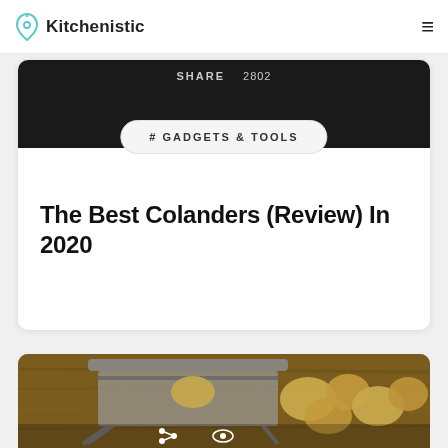Kitchenistic
[Figure (screenshot): Dark article hero image strip showing SHARE 2802 text overlay]
# GADGETS & TOOLS
The Best Colanders (Review) In 2020
[Figure (photo): Photo of potatoes and a mandoline slicer on a wooden surface]